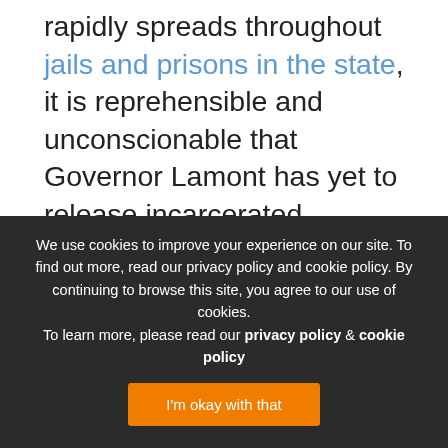rapidly spreads throughout jails and prisons in the state, it is reprehensible and unconscionable that Governor Lamont has yet to release incarcerated individuals or provide a specific COVID-19 response plan. Lawmakers in Connecticut agree, and have called on Governor Lamont to protect incarcerated people from COVID 19 by releasing them. Throughout the country, public health experts have called for the release of incarcerated people to reduce the impact of COVID-19, including doctors in the prestigious New England Journal of Medicine
We use cookies to improve your experience on our site. To find out more, read our privacy policy and cookie policy. By continuing to browse this site, you agree to our use of cookies. To learn more, please read our privacy policy & cookie policy